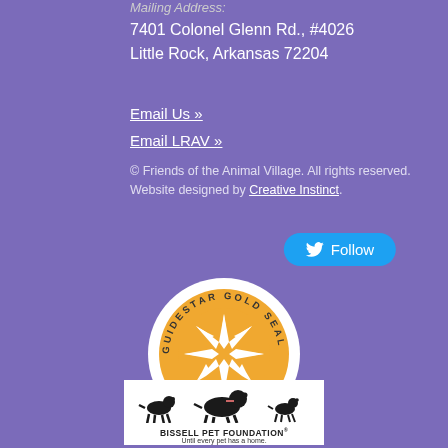Mailing Address:
7401 Colonel Glenn Rd., #4026
Little Rock, Arkansas 72204
Email Us »
Email LRAV »
© Friends of the Animal Village. All rights reserved. Website designed by Creative Instinct.
[Figure (logo): Twitter Follow button in blue with bird icon]
[Figure (logo): GuideStar Gold Seal of Transparency 2020 badge - circular gold and white seal]
[Figure (logo): Bissell Pet Foundation logo - Until every pet has a home]